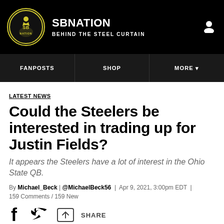SB Nation | Behind the Steel Curtain
[Figure (logo): SB Nation circular logo with yellow outline and football player silhouette]
LATEST NEWS
Could the Steelers be interested in trading up for Justin Fields?
It appears the Steelers have a lot of interest in the Ohio State QB.
By Michael_Beck | @MichaelBeck56 | Apr 9, 2021, 3:00pm EDT | 159 Comments / 159 New
[Figure (infographic): Social share icons: Facebook, Twitter, and share button with SHARE label]